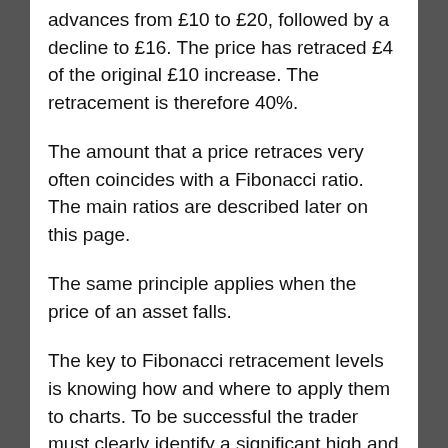advances from £10 to £20, followed by a decline to £16. The price has retraced £4 of the original £10 increase. The retracement is therefore 40%.
The amount that a price retraces very often coincides with a Fibonacci ratio. The main ratios are described later on this page.
The same principle applies when the price of an asset falls.
The key to Fibonacci retracement levels is knowing how and where to apply them to charts. To be successful the trader must clearly identify a significant high and low. These 2 values then form the original advance or decline. From there you can identify where the key retracement levels are likely